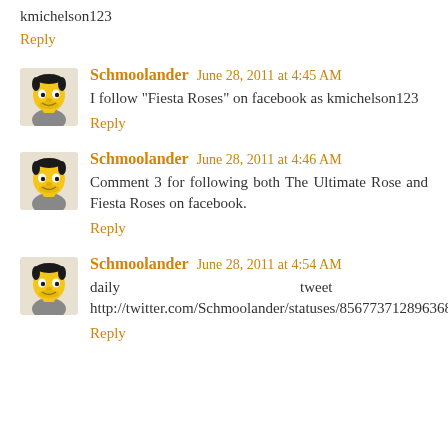kmichelson123
Reply
Schmoolander  June 28, 2011 at 4:45 AM
I follow "Fiesta Roses" on facebook as kmichelson123
Reply
Schmoolander  June 28, 2011 at 4:46 AM
Comment 3 for following both The Ultimate Rose and Fiesta Roses on facebook.
Reply
Schmoolander  June 28, 2011 at 4:54 AM
daily tweet http://twitter.com/Schmoolander/statuses/85677371289636864
Reply